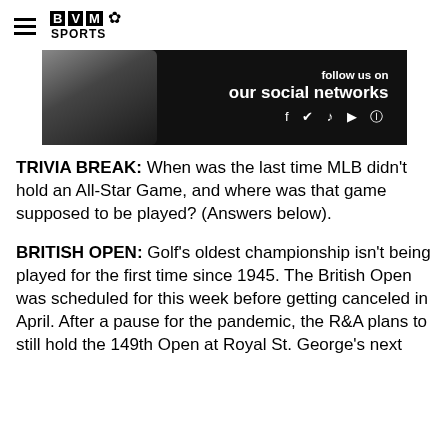BVM SPORTS
[Figure (photo): Dark banner ad showing a smartphone and text 'follow us on our social networks' with social media icons for Facebook, Twitter, TikTok, YouTube, and Instagram]
TRIVIA BREAK: When was the last time MLB didn't hold an All-Star Game, and where was that game supposed to be played? (Answers below).
BRITISH OPEN: Golf's oldest championship isn't being played for the first time since 1945. The British Open was scheduled for this week before getting canceled in April. After a pause for the pandemic, the R&A plans to still hold the 149th Open at Royal St. George's next